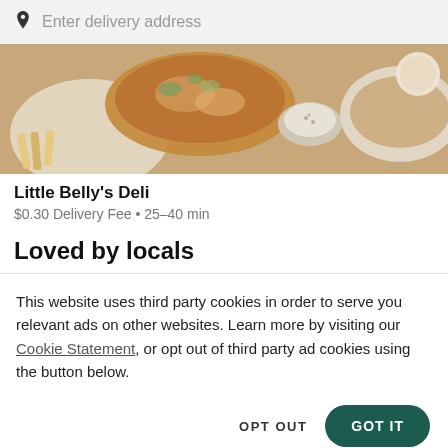Enter delivery address
[Figure (photo): Overhead view of food dishes on a table including bread, dipping sauce, and sandwiches]
Little Belly's Deli
$0.30 Delivery Fee • 25–40 min
Loved by locals
This website uses third party cookies in order to serve you relevant ads on other websites. Learn more by visiting our Cookie Statement, or opt out of third party ad cookies using the button below.
OPT OUT   GOT IT